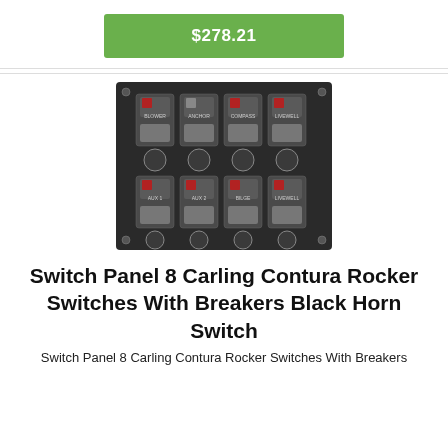$278.21
[Figure (photo): Switch panel with 8 Carling Contura rocker switches arranged in two rows of 4, with circuit breakers below each row, mounted on a black panel.]
Switch Panel 8 Carling Contura Rocker Switches With Breakers Black Horn Switch
Switch Panel 8 Carling Contura Rocker Switches With Breakers